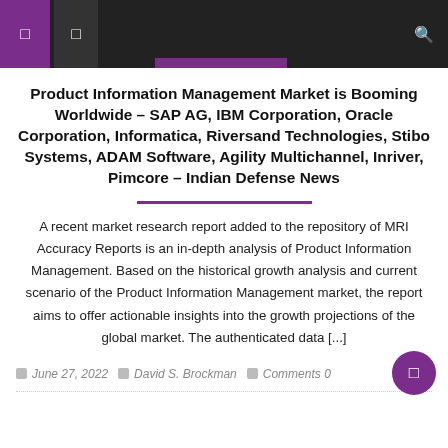Navigation bar with icons
Product Information Management Market is Booming Worldwide – SAP AG, IBM Corporation, Oracle Corporation, Informatica, Riversand Technologies, Stibo Systems, ADAM Software, Agility Multichannel, Inriver, Pimcore – Indian Defense News
A recent market research report added to the repository of MRI Accuracy Reports is an in-depth analysis of Product Information Management. Based on the historical growth analysis and current scenario of the Product Information Management market, the report aims to offer actionable insights into the growth projections of the global market. The authenticated data [...]
June 27, 2022   David S. Brockman   Comments 0